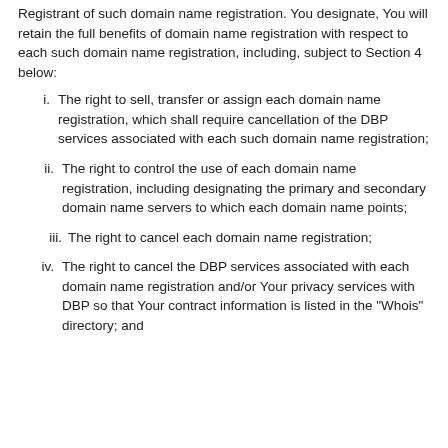Registrant of such domain name registration. You designate, You will retain the full benefits of domain name registration with respect to each such domain name registration, including, subject to Section 4 below:
i. The right to sell, transfer or assign each domain name registration, which shall require cancellation of the DBP services associated with each such domain name registration;
ii. The right to control the use of each domain name registration, including designating the primary and secondary domain name servers to which each domain name points;
iii. The right to cancel each domain name registration;
iv. The right to cancel the DBP services associated with each domain name registration and/or Your privacy services with DBP so that Your contract information is listed in the "Whois" directory; and